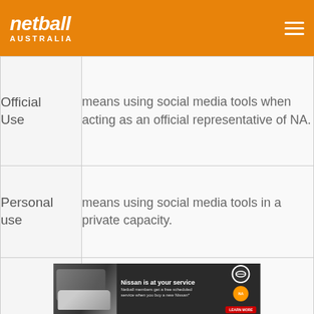[Figure (logo): Netball Australia logo in white italic text on orange header background, with hamburger menu icon top right]
| Term | Definition |
| --- | --- |
| Official Use | means using social media tools when acting as an official representative of NA. |
| Personal use | means using social media tools in a private capacity. |
|  | means all online media which [continues below] |
[Figure (photo): Nissan advertisement banner: Nissan is at your service — Netball members get a free scheduled service when you buy a new Nissan, LEARN MORE button, Nissan and Netball Australia logos]